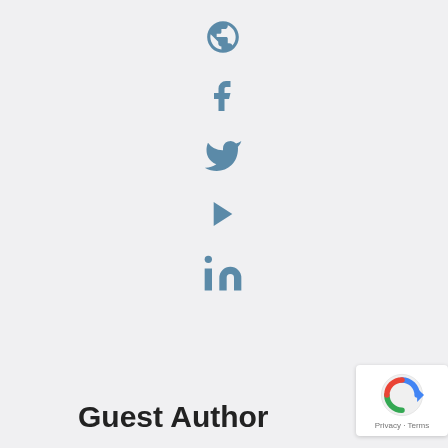[Figure (infographic): Vertical column of social media icons: globe/website, Facebook, Twitter, play button, LinkedIn — all in muted steel blue color]
Guest Author
[Figure (logo): reCAPTCHA badge with Google reCAPTCHA logo and 'Privacy - Terms' text]